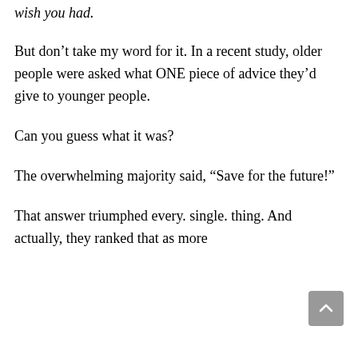wish you had.
But don't take my word for it. In a recent study, older people were asked what ONE piece of advice they'd give to younger people.
Can you guess what it was?
The overwhelming majority said, “Save for the future!”
That answer triumphed every. single. thing. And actually, they ranked that as more